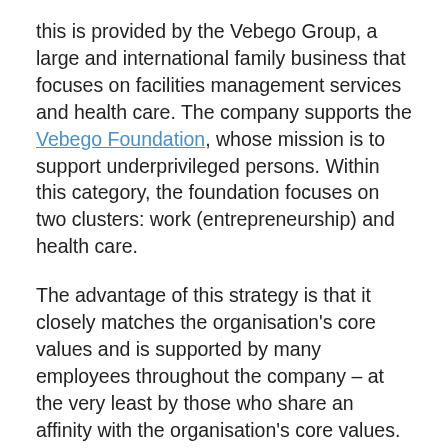this is provided by the Vebego Group, a large and international family business that focuses on facilities management services and health care. The company supports the Vebego Foundation, whose mission is to support underprivileged persons. Within this category, the foundation focuses on two clusters: work (entrepreneurship) and health care.
The advantage of this strategy is that it closely matches the organisation's core values and is supported by many employees throughout the company – at the very least by those who share an affinity with the organisation's core values. This type of strategy has the potential for long-term partnerships and significant social impact.
The challenge here is for organisations to be careful not to quickly lapse into certain known